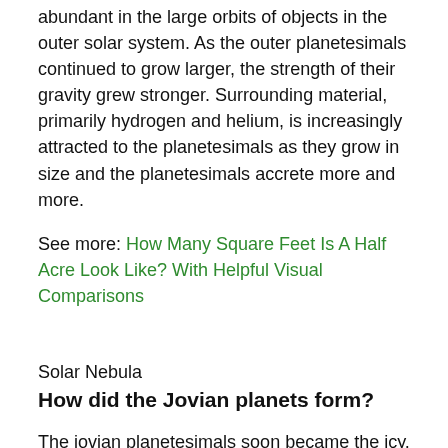abundant in the large orbits of objects in the outer solar system. As the outer planetesimals continued to grow larger, the strength of their gravity grew stronger. Surrounding material, primarily hydrogen and helium, is increasingly attracted to the planetesimals as they grow in size and the planetesimals accrete more and more.
See more: How Many Square Feet Is A Half Acre Look Like? With Helpful Visual Comparisons
Solar Nebula
How did the Jovian planets form?
The jovian planetesimals soon became the icy, dense cores we see today surrounded by huge clouds of accreted gas. Much like the collapse of the solar nebula, these balls of gas can grow large